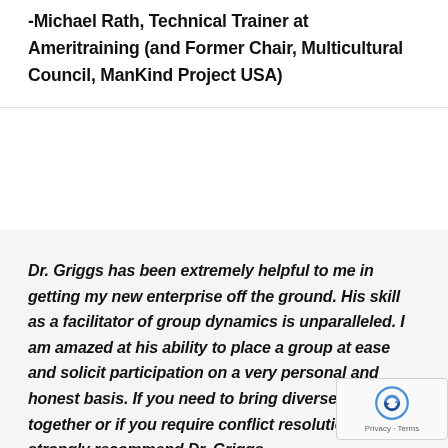-Michael Rath, Technical Trainer at Ameritraining (and Former Chair, Multicultural Council, ManKind Project USA)
Dr. Griggs has been extremely helpful to me in getting my new enterprise off the ground. His skill as a facilitator of group dynamics is unparalleled. I am amazed at his ability to place a group at ease and solicit participation on a very personal and honest basis. If you need to bring diverse groups together or if you require conflict resolution I would strongly recommend Dr. Griggs.